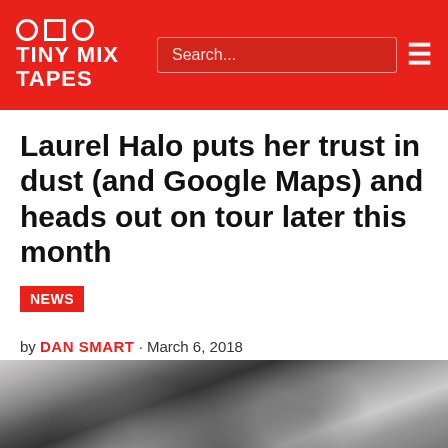TINY MIX TAPES
Laurel Halo puts her trust in dust (and Google Maps) and heads out on tour later this month
NEWS
by DAN SMART · March 6, 2018
Share  Tweet
[Figure (photo): Black and white close-up photo of a person, likely Laurel Halo, with hair visible, looking downward.]